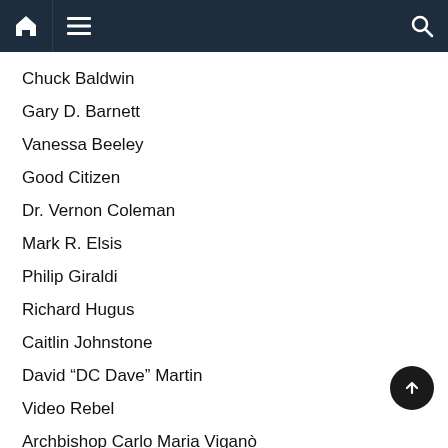Navigation bar with home, menu, and search icons
Chuck Baldwin
Gary D. Barnett
Vanessa Beeley
Good Citizen
Dr. Vernon Coleman
Mark R. Elsis
Philip Giraldi
Richard Hugus
Caitlin Johnstone
David “DC Dave” Martin
Video Rebel
Archbishop Carlo Maria Viganò
Bishop Richard N. Williamson
If you are a writer and would like me to consider your articles, contact me